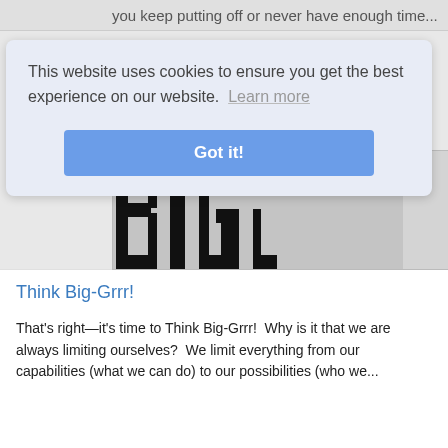you keep putting off or never have enough time...
This website uses cookies to ensure you get the best experience on our website.  Learn more
Got it!
[Figure (photo): Large cropped black letters 'BIG' on a light grey/white background, shown partially]
Think Big-Grrr!
That's right—it's time to Think Big-Grrr!  Why is it that we are always limiting ourselves?  We limit everything from our capabilities (what we can do) to our possibilities (who we...